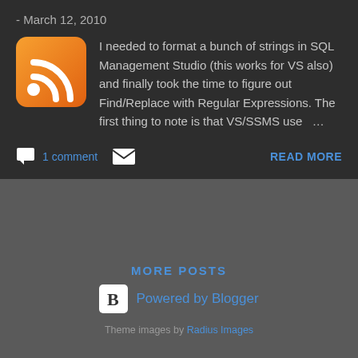- March 12, 2010
I needed to format a bunch of strings in SQL Management Studio (this works for VS also) and finally took the time to figure out Find/Replace with Regular Expressions. The first thing to note is that VS/SSMS use …
1 comment   READ MORE
MORE POSTS
Powered by Blogger
Theme images by Radius Images